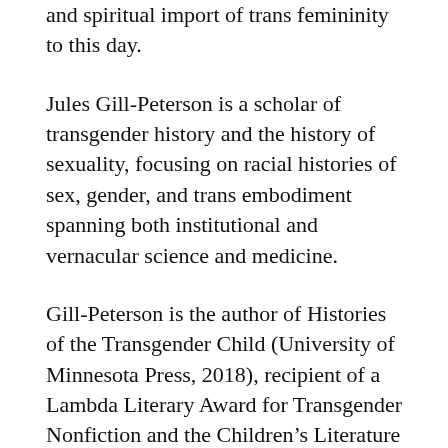and spiritual import of trans femininity to this day.
Jules Gill-Peterson is a scholar of transgender history and the history of sexuality, focusing on racial histories of sex, gender, and trans embodiment spanning both institutional and vernacular science and medicine.
Gill-Peterson is the author of Histories of the Transgender Child (University of Minnesota Press, 2018), recipient of a Lambda Literary Award for Transgender Nonfiction and the Children's Literature Association Book Award. The book was the first to challenge the myth that transgender children are a new phenomenon in the twenty-first century. Drawing on a century's worth of medical archival evidence, Histories of the